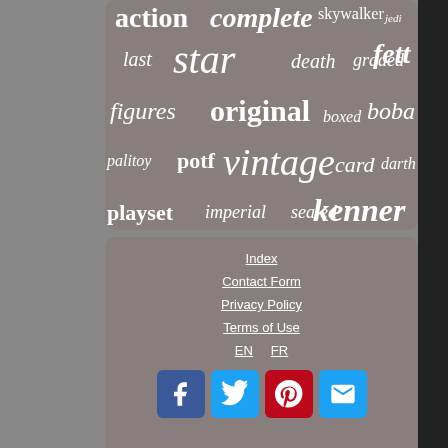[Figure (infographic): Word cloud with Star Wars related terms in white italic text on grey background. Words include: action, complete, skywalker, jedi, last, star, death, graded, fett, figures, original, boxed, boba, palitoy, potf, vintage, card, darth, playset, imperial, sealed, kenner]
Index
Contact Form
Privacy Policy
Terms of Use
EN   FR
[Figure (infographic): Social media buttons: Facebook (blue), Twitter (light blue), Pinterest (red), Email (light blue)]